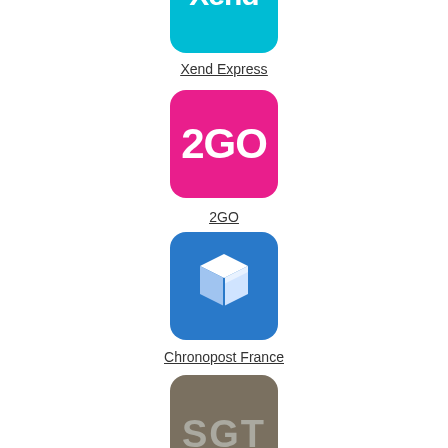[Figure (logo): Xend Express logo - cyan/turquoise rounded square with white Xend text and yellow star]
Xend Express
[Figure (logo): 2GO logo - magenta/pink rounded square with white 2GO text]
2GO
[Figure (logo): Chronopost France logo - blue rounded square with white 3D box/package icon]
Chronopost France
[Figure (logo): SGT logo - dark gray/taupe rounded square with gray SGT text]